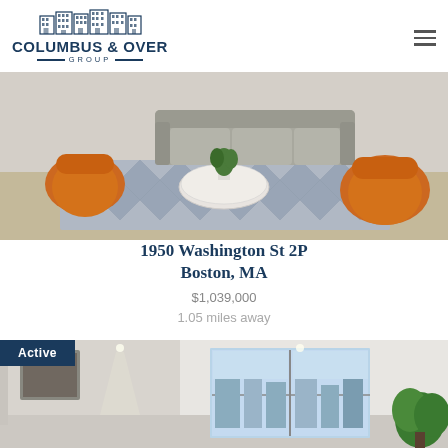[Figure (logo): Columbus & Over Group logo with building illustration]
[Figure (photo): Interior living room photo showing patterned rug, orange chairs, and sofa]
1950 Washington St 2P
Boston, MA
$1,039,000
1.05 miles away
[Figure (photo): Active listing photo showing modern interior with large windows]
Active